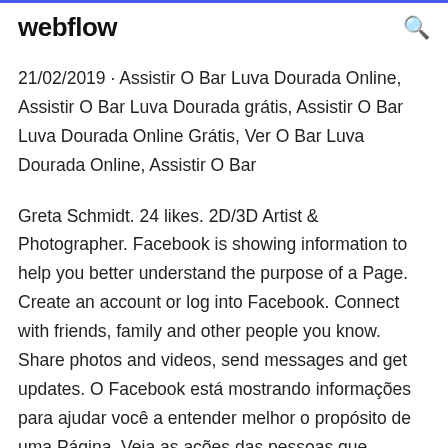webflow
21/02/2019 · Assistir O Bar Luva Dourada Online, Assistir O Bar Luva Dourada grátis, Assistir O Bar Luva Dourada Online Grátis, Ver O Bar Luva Dourada Online, Assistir O Bar
Greta Schmidt. 24 likes. 2D/3D Artist & Photographer. Facebook is showing information to help you better understand the purpose of a Page. Create an account or log into Facebook. Connect with friends, family and other people you know. Share photos and videos, send messages and get updates. O Facebook está mostrando informações para ajudar você a entender melhor o propósito de uma Página. Veja as ações das pessoas que administram e